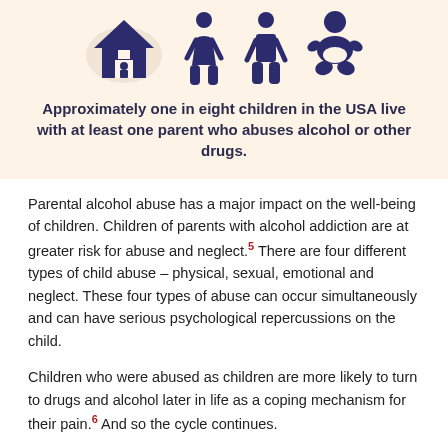[Figure (infographic): Infographic on beige background showing icons: a house with a person inside, two adult figures (male and female), and a baby figure, with world map silhouette in background. Text states approximately one in eight children in the USA live with at least one parent who abuses alcohol or other drugs.]
Parental alcohol abuse has a major impact on the well-being of children. Children of parents with alcohol addiction are at greater risk for abuse and neglect.5 There are four different types of child abuse – physical, sexual, emotional and neglect. These four types of abuse can occur simultaneously and can have serious psychological repercussions on the child.
Children who were abused as children are more likely to turn to drugs and alcohol later in life as a coping mechanism for their pain.6 And so the cycle continues.
Sexual Assault